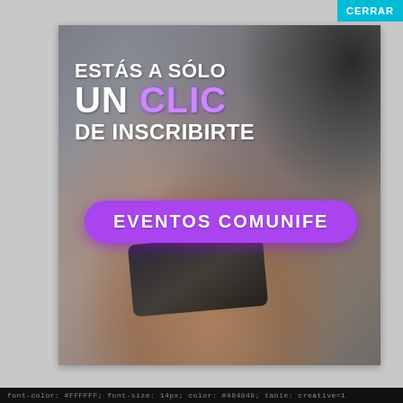[Figure (illustration): Advertisement popup showing a blurred photo of hands holding a smartphone with a coffee cup in the background. Overlay text reads ESTÁS A SÓLO UN CLIC DE INSCRIBIRTE with a purple button labeled EVENTOS COMUNIFE. A cyan CERRAR button appears in the top-right corner.]
ESTÁS A SÓLO UN CLIC DE INSCRIBIRTE
EVENTOS COMUNIFE
font-color: #FFFFFF; font-size: 14px; color: #484848; table: creative=1